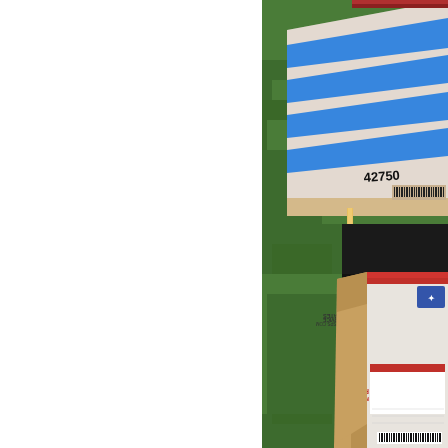[Figure (photo): Top photo: A white envelope/mailer with horizontal blue stripes lying on green grass. The mailer has a visible barcode and partial text '42750' at the bottom right edge. There is also a wooden pencil or craft stick visible at the bottom.]
[Figure (photo): Bottom photo: A USPS Priority Mail cardboard box sitting on green grass. The box is shown upside down with the Priority Mail label visible (reading upside down). Text visible includes 'PRIORITY MAIL', 'UNITED STATES POSTAL SERVICE', 'VISIT US AT USPS.COM'. A piece of cardboard is leaning against the box.]